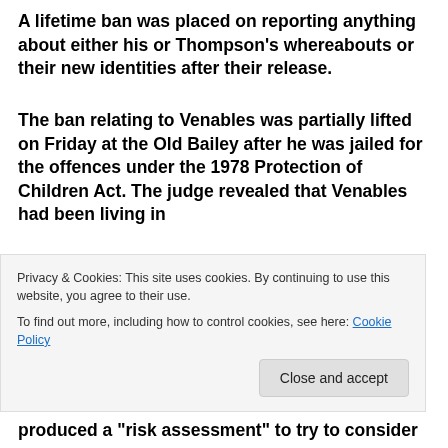A lifetime ban was placed on reporting anything about either his or Thompson's whereabouts or their new identities after their release.
The ban relating to Venables was partially lifted on Friday at the Old Bailey after he was jailed for the offences under the 1978 Protection of Children Act. The judge revealed that Venables had been living in Cheshire at the time of the offences, and that the case produced a "risk assessment" to try to consider
Privacy & Cookies: This site uses cookies. By continuing to use this website, you agree to their use. To find out more, including how to control cookies, see here: Cookie Policy